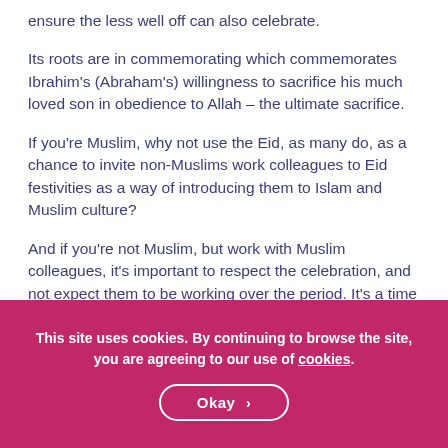ensure the less well off can also celebrate.
Its roots are in commemorating which commemorates Ibrahim's (Abraham's) willingness to sacrifice his much loved son in obedience to Allah – the ultimate sacrifice.
If you're Muslim, why not use the Eid, as many do, as a chance to invite non-Muslims work colleagues to Eid festivities as a way of introducing them to Islam and Muslim culture?
And if you're not Muslim, but work with Muslim colleagues, it's important to respect the celebration, and not expect them to be working over the period. It's a time for family and friends, as important in the
This site uses cookies. By continuing to browse the site, you are agreeing to our use of cookies.
Okay >